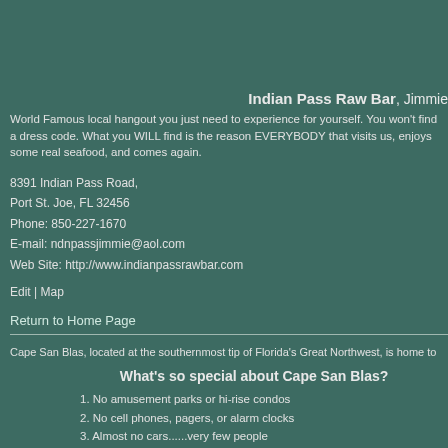Indian Pass Raw Bar, Jimmie
World Famous local hangout you just need to experience for yourself. You won't find a dress code. What you WILL find is the reason EVERYBODY that visits us, enjoys some real seafood, and comes again.
8391 Indian Pass Road,
Port St. Joe, FL 32456
Phone: 850-227-1670
E-mail: ndnpassjimmie@aol.com
Web Site: http://www.indianpassrawbar.com
Edit | Map
Return to Home Page
Cape San Blas, located at the southernmost tip of Florida's Great Northwest, is home to
What's so special about Cape San Blas?
1. No amusement parks or hi-rise condos
2. No cell phones, pagers, or alarm clocks
3. Almost no cars......very few people
It's what you don't have (or want) that makes this place special. Cape San Blas is a crowds...away from the busy schedules, the telephones, the responsibilities. After a week home.